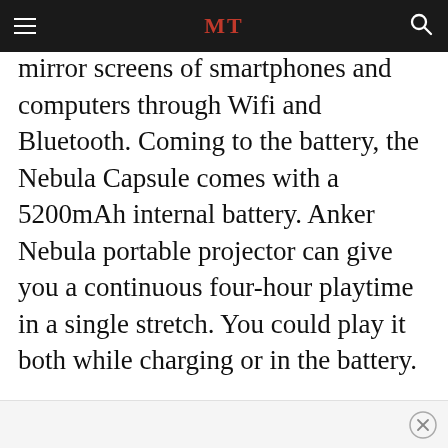MT
mobile projector gift for dad can mirror screens of smartphones and computers through Wifi and Bluetooth. Coming to the battery, the Nebula Capsule comes with a 5200mAh internal battery. Anker Nebula portable projector can give you a continuous four-hour playtime in a single stretch. You could play it both while charging or in the battery.